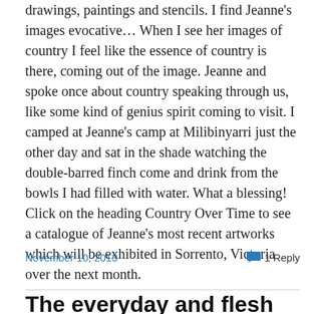drawings, paintings and stencils. I find Jeanne's images evocative… When I see her images of country I feel like the essence of country is there, coming out of the image. Jeanne and spoke once about country speaking through us, like some kind of genius spirit coming to visit. I camped at Jeanne's camp at Milibinyarri just the other day and sat in the shade watching the double-barred finch come and drink from the bowls I had filled with water. What a blessing! Click on the heading Country Over Time to see a catalogue of Jeanne's most recent artworks which will be exhibited in Sorrento, Victoria over the next month.
November 10, 2013
1 Reply
The everyday and flesh